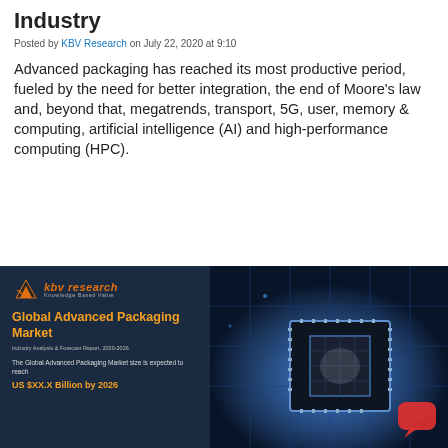Industry
Posted by KBV Research on July 22, 2020 at 9:10
Advanced packaging has reached its most productive period, fueled by the need for better integration, the end of Moore's law and, beyond that, megatrends, transport, 5G, user, memory & computing, artificial intelligence (AI) and high-performance computing (HPC).
[Figure (photo): KBV Research report cover for Global Advanced Packaging Market Industry Analysis & Forecast Report 2020-2026, alongside a photo of a semiconductor chip on a circuit board with blue lighting.]